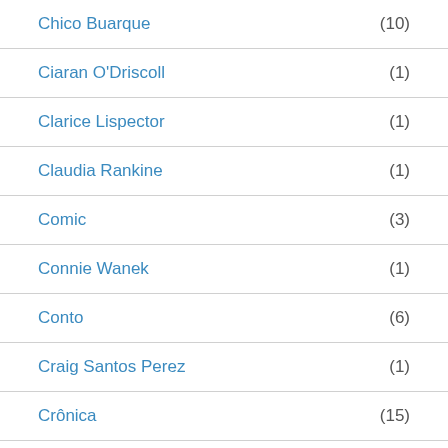Chico Buarque (10)
Ciaran O'Driscoll (1)
Clarice Lispector (1)
Claudia Rankine (1)
Comic (3)
Connie Wanek (1)
Conto (6)
Craig Santos Perez (1)
Crônica (15)
Cynthia Huntington (1)